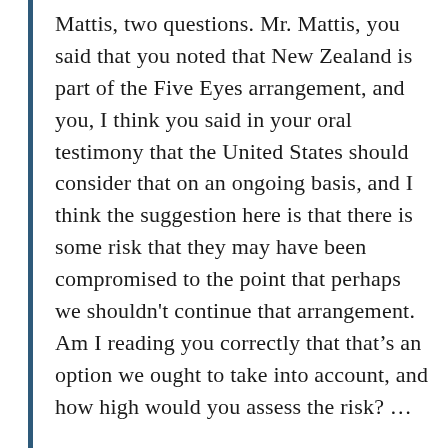Mattis, two questions. Mr. Mattis, you said that you noted that New Zealand is part of the Five Eyes arrangement, and you, I think you said in your oral testimony that the United States should consider that on an ongoing basis, and I think the suggestion here is that there is some risk that they may have been compromised to the point that perhaps we shouldn't continue that arrangement. Am I reading you correctly that that's an option we ought to take into account, and how high would you assess the risk? ...
MR. MATTIS: The answer is yes, that's